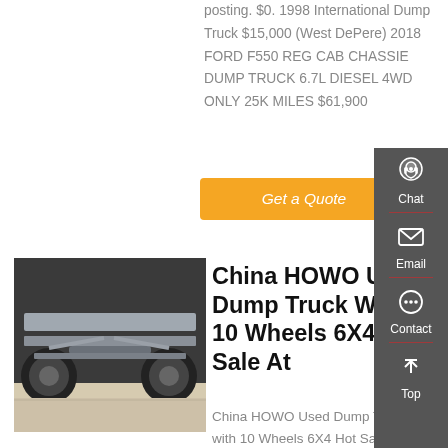posting. $0. 1998 International Dump Truck $15,000 (West DePere) 2018 FORD F550 REG CAB CHASSIE DUMP TRUCK 6.7L DIESEL 4WD ONLY 25K MILES $61,900
Get a Quote
[Figure (photo): Underside view of a heavy truck or dump truck chassis showing axles and drivetrain components]
China HOWO Used Dump Truck With 10 Wheels 6X4 Hot Sale At
China HOWO Used Dump Truck with 10 Wheels 6X4 Hot Sale at Africa Best Condition Heavy